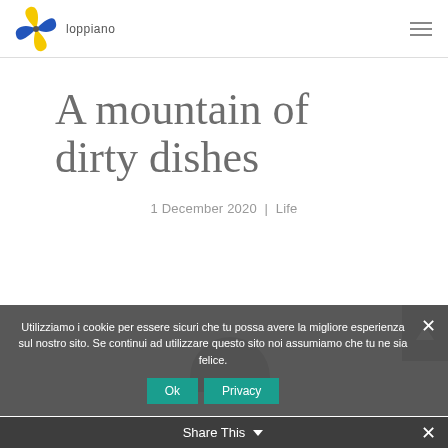[Figure (logo): Loppiano logo with yellow and blue pinwheel/windmill shape and text 'loppiano']
A mountain of dirty dishes
1 December 2020  |  Life
Utilizziamo i cookie per essere sicuri che tu possa avere la migliore esperienza sul nostro sito. Se continui ad utilizzare questo sito noi assumiamo che tu ne sia felice.
Ok  Privacy
Share This